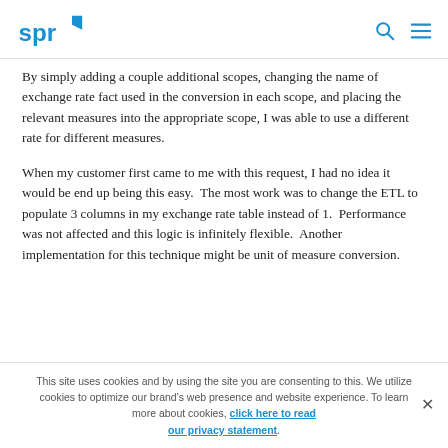SPR logo with search and menu icons
By simply adding a couple additional scopes, changing the name of exchange rate fact used in the conversion in each scope, and placing the relevant measures into the appropriate scope, I was able to use a different rate for different measures.
When my customer first came to me with this request, I had no idea it would be end up being this easy.  The most work was to change the ETL to populate 3 columns in my exchange rate table instead of 1.  Performance was not affected and this logic is infinitely flexible.  Another implementation for this technique might be unit of measure conversion.
This site uses cookies and by using the site you are consenting to this. We utilize cookies to optimize our brand's web presence and website experience. To learn more about cookies, click here to read our privacy statement.